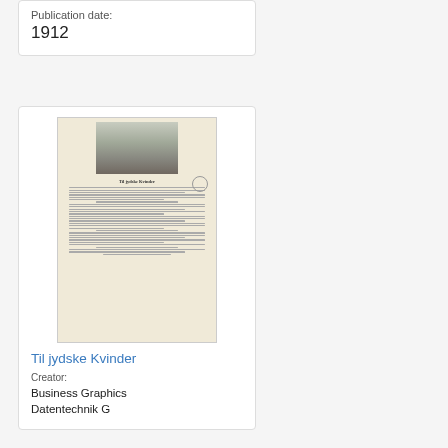Publication date:
1912
[Figure (photo): Thumbnail image of a historical document page titled 'Til jydske Kvinder' (1912), showing an aerial/landscape photograph at the top and columns of text below]
Til jydske Kvinder
Creator:
Business Graphics Datentechnik G